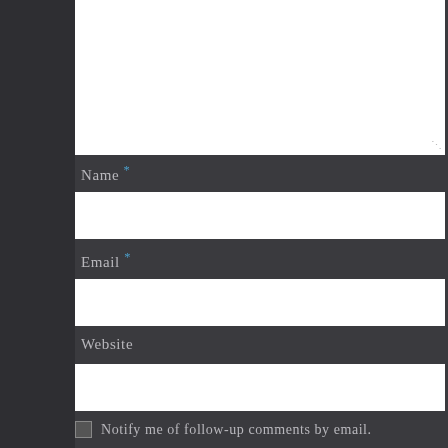[Figure (screenshot): Text area input field (white box, top portion visible with resize handle)]
Name *
[Figure (screenshot): Name text input field (white box)]
Email *
[Figure (screenshot): Email text input field (white box)]
Website
[Figure (screenshot): Website text input field (white box)]
Notify me of follow-up comments by email.
Notify me of new posts by email.